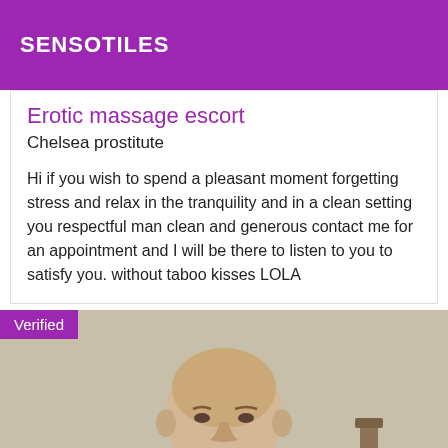SENSOTILES
Erotic massage escort
Chelsea prostitute
Hi if you wish to spend a pleasant moment forgetting stress and relax in the tranquility and in a clean setting you respectful man clean and generous contact me for an appointment and I will be there to listen to you to satisfy you. without taboo kisses LOLA
[Figure (photo): Photo of a bald man in a dark jacket, sitting indoors near a wooden chair, with a neutral wall background. A purple 'Verified' badge overlays the top-left corner.]